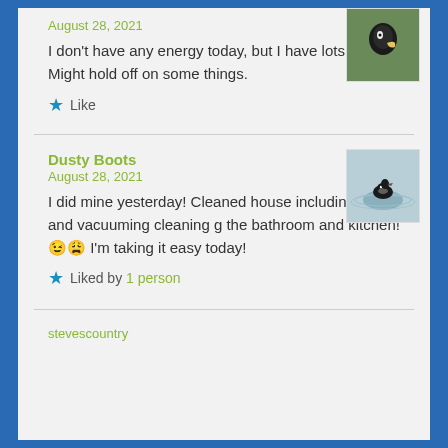August 28, 2021
I don't have any energy today, but I have lots to do yet. Might hold off on some things.
Like
Dusty Boots
August 28, 2021
I did mine yesterday! Cleaned house including dusting and vacuuming cleaning g the bathroom and kitchen!😉😩 I'm taking it easy today!
Liked by 1 person
stevescountry